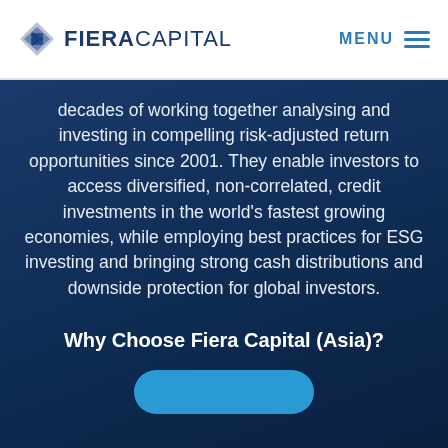Fiera Capital — MENU
decades of working together analysing and investing in compelling risk-adjusted return opportunities since 2001. They enable investors to access diversified, non-correlated, credit investments in the world's fastest growing economies, while employing best practices for ESG investing and bringing strong cash distributions and downside protection for global investors.
Why Choose Fiera Capital (Asia)?